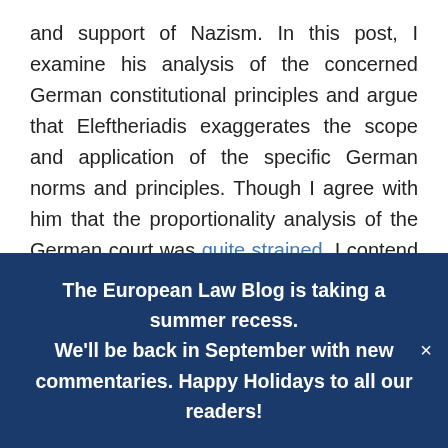and support of Nazism. In this post, I examine his analysis of the concerned German constitutional principles and argue that Eleftheriadis exaggerates the scope and application of the specific German norms and principles. Though I agree with him that the proportionality analysis of the German court was quite strained, I contend that the constitutional principles are justified and warrant further scrutiny of the de-politicisation of monetary policy and the limits of the ECB's mandate.
The European Law Blog is taking a summer recess. We'll be back in September with new commentaries. Happy Holidays to all our readers!